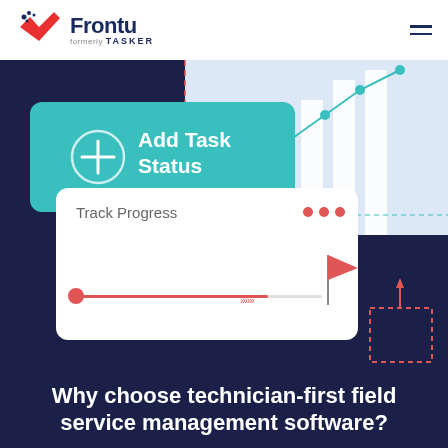[Figure (logo): Frontu logo (formerly TASKER) with checkmark icon in red and navy, company name in navy bold text]
[Figure (screenshot): App UI screenshot on dark navy background showing: a teal card with Add Task Status label and plus icon, a white card with Track Progress label and a red progress bar with flag, a line chart in the background on light blue, dashed red rectangular annotation box]
Why choose technician-first field service management software?